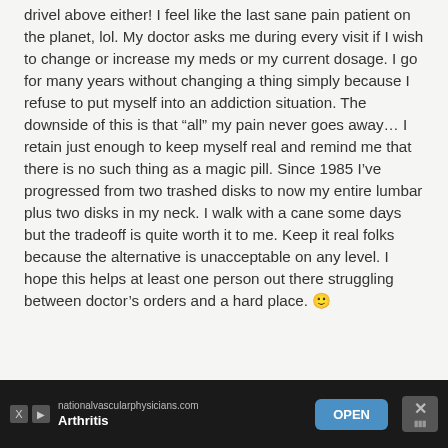drivel above either! I feel like the last sane pain patient on the planet, lol. My doctor asks me during every visit if I wish to change or increase my meds or my current dosage. I go for many years without changing a thing simply because I refuse to put myself into an addiction situation. The downside of this is that “all” my pain never goes away… I retain just enough to keep myself real and remind me that there is no such thing as a magic pill. Since 1985 I’ve progressed from two trashed disks to now my entire lumbar plus two disks in my neck. I walk with a cane some days but the tradeoff is quite worth it to me. Keep it real folks because the alternative is unacceptable on any level. I hope this helps at least one person out there struggling between doctor’s orders and a hard place. 🙂
Reply
[Figure (other): Advertisement banner at bottom of page for nationalvascularphysicians.com - Arthritis, with an OPEN button and close/mute controls on dark background]